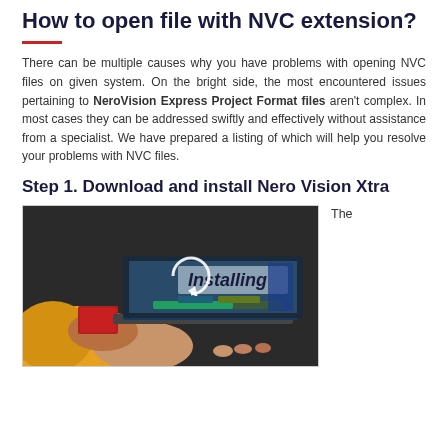How to open file with NVC extension?
There can be multiple causes why you have problems with opening NVC files on given system. On the bright side, the most encountered issues pertaining to NeroVision Express Project Format files aren't complex. In most cases they can be addressed swiftly and effectively without assistance from a specialist. We have prepared a listing of which will help you resolve your problems with NVC files.
Step 1. Download and install Nero Vision Xtra
[Figure (photo): Photo of a person in a yellow jacket using a laptop, with a screen showing 'Installing' text and a progress bar, and a red book in hand.]
The